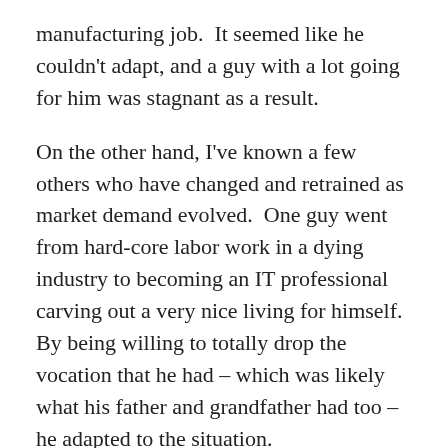manufacturing job.  It seemed like he couldn't adapt, and a guy with a lot going for him was stagnant as a result.
On the other hand, I've known a few others who have changed and retrained as market demand evolved.  One guy went from hard-core labor work in a dying industry to becoming an IT professional carving out a very nice living for himself.  By being willing to totally drop the vocation that he had – which was likely what his father and grandfather had too – he adapted to the situation.
Changing Work Environment
Sometimes life can throw you a curveball.  Two people I know dealt with situations where they had a